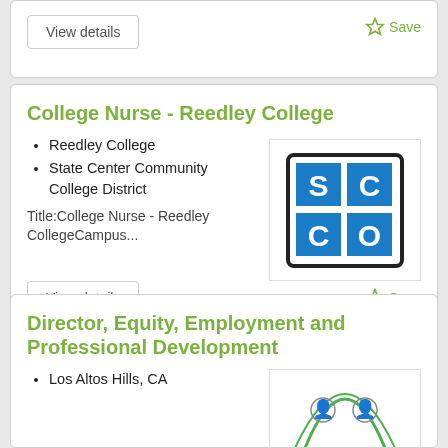View details
Save
College Nurse - Reedley College
Reedley College
State Center Community College District
[Figure (logo): SCCCD (State Center Community College District) logo — blue gridded letters SC/CCO on white background]
Title:College Nurse - Reedley CollegeCampus...
View details
Save
Director, Equity, Employment and Professional Development
Los Altos Hills, CA
[Figure (logo): Partial circular logo with illustrated figures]